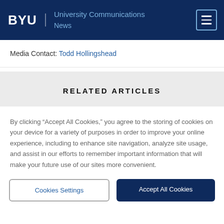BYU | University Communications News
Media Contact: Todd Hollingshead
RELATED ARTICLES
By clicking “Accept All Cookies,” you agree to the storing of cookies on your device for a variety of purposes in order to improve your online experience, including to enhance site navigation, analyze site usage, and assist in our efforts to remember important information that will make your future use of our sites more convenient.
Cookies Settings | Accept All Cookies